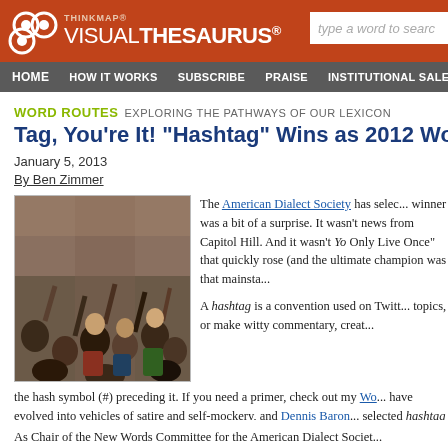THINKMAP VISUAL THESAURUS
WORD ROUTES  EXPLORING THE PATHWAYS OF OUR LEXICON
Tag, You're It! "Hashtag" Wins as 2012 Word
January 5, 2013
By Ben Zimmer
[Figure (photo): Crowd of people at an event, many with hands raised, photographed indoors]
The American Dialect Society has selec... winner was a bit of a surprise. It wasn't news from Capitol Hill. And it wasn't You Only Live Once" that quickly rose (and the ultimate champion was that mainsta...
A hashtag is a convention used on Twitt... topics, or make witty commentary, creat... the hash symbol (#) preceding it. If you need a primer, check out my Wo... have evolved into vehicles of satire and self-mockery, and Dennis Baron selected hashtag (or rather #hashtag) as his own Word of the Year.
As Chair of the New Words Committee for the American Dialect Societ...